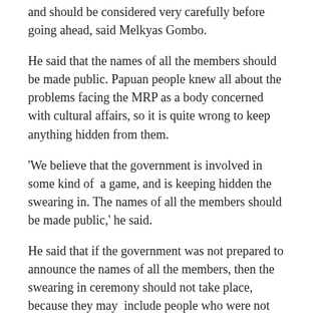and should be considered very carefully before going ahead, said Melkyas Gombo.
He said that the names of all the members should be made public. Papuan people knew all about the problems facing the MRP as a body concerned with cultural affairs, so it is quite wrong to keep anything hidden from them.
'We believe that the government is involved in some kind of  a game, and is keeping hidden the swearing in. The names of all the members should be made public,' he said.
He said that if the government was not prepared to announce the names of all the members, then the swearing in ceremony should not take place, because they may  include people who were not chosen by the Papuan people  and would be seen by the Papuan people as people who were not likely to  speak out on behalf of the Papuan people.